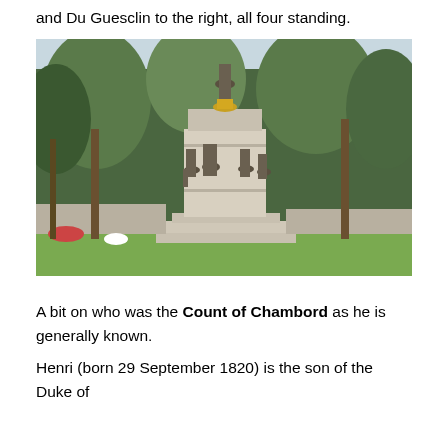and Du Guesclin to the right, all four standing.
[Figure (photo): Outdoor photograph of a tall stone monument with a bronze statue on top and four standing bronze figures around the base, surrounded by trees.]
A bit on who was the Count of Chambord as he is generally known.
Henri (born 29 September 1820) is the son of the Duke of